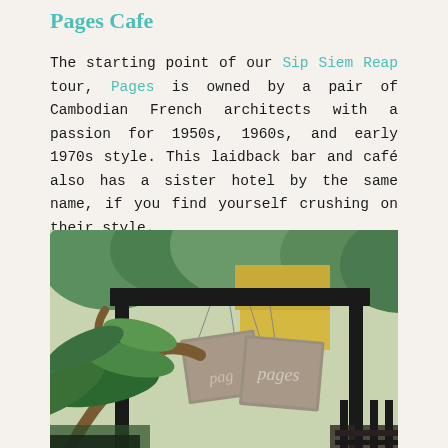Pages Cafe
The starting point of our Sip Siem Reap tour, Pages is owned by a pair of Cambodian French architects with a passion for 1950s, 1960s, and early 1970s style. This laidback bar and café also has a sister hotel by the same name, if you find yourself crushing on their style.
[Figure (photo): Outdoor sign of Pages Cafe — two rectangular concrete/stone tiles with the handwritten word 'pages' hanging from a black metal pergola structure, surrounded by tropical greenery including banana leaves and frangipani trees.]